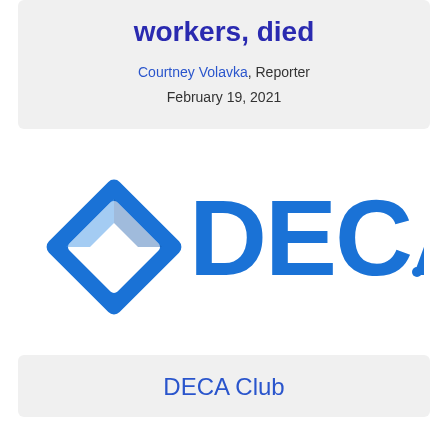workers, died
Courtney Volavka, Reporter
February 19, 2021
[Figure (logo): DECA organization logo — blue diamond shape on left and large blue text 'DECA' on right]
DECA Club